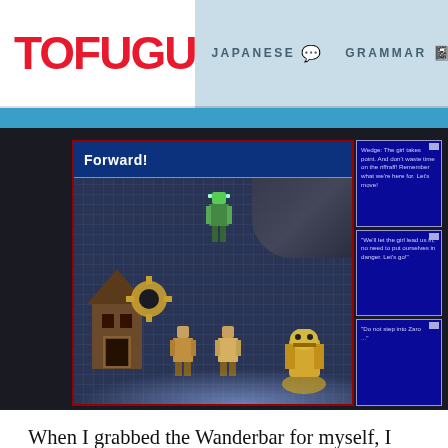TOFUGU  JAPANESE  GRAMMAR
[Figure (screenshot): Video game screenshot from Super Mario RPG showing a game scene with characters and dialogue. Left panel shows game field with 'Forward!' text box and sprite characters including a mechanical robot, building, and gear. Right side shows three blue dialogue panels with text: 'Wedge: The girl takes point. And don't waste time on the riffraff! Remember what we're here for. Let's move!', 'We'll let the girl lead us in, no need to put ourselves in danger. Let's go!', 'Do not step into Zaro ...']
When I grabbed the Wanderbar for myself, I was surprised at how easy it was to set up. I just downloaded the zip file from Clyde's site, changed the directory path in the setup txt file, opened the emulator, and opened the rom file. That's it! It took maybe fifteen minutes before I was playing Super Mario RPG with subtitles alongside English...